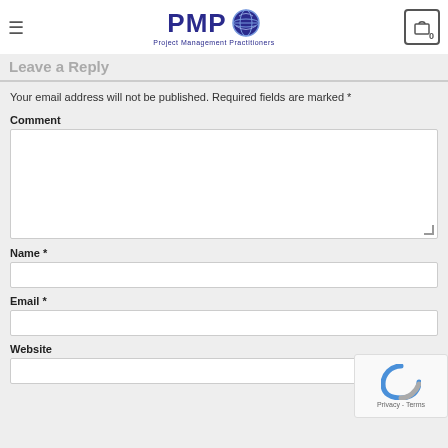PMP Project Management Practitioners — Leave a Reply
Leave a Reply
Your email address will not be published. Required fields are marked *
Comment
Name *
Email *
Website